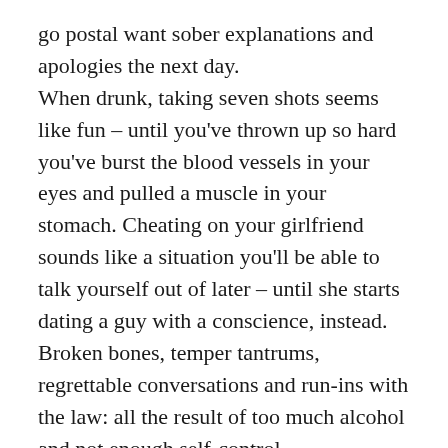go postal want sober explanations and apologies the next day. When drunk, taking seven shots seems like fun – until you've thrown up so hard you've burst the blood vessels in your eyes and pulled a muscle in your stomach. Cheating on your girlfriend sounds like a situation you'll be able to talk yourself out of later – until she starts dating a guy with a conscience, instead. Broken bones, temper tantrums, regrettable conversations and run-ins with the law: all the result of too much alcohol and not enough self-control. Sometimes the damage done while drunk, both to yourself and those you love, is too massive to be